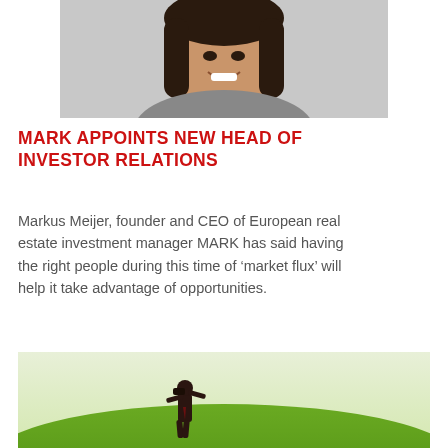[Figure (photo): Portrait photo of a smiling woman with long dark hair on a light gray background]
MARK APPOINTS NEW HEAD OF INVESTOR RELATIONS
Markus Meijer, founder and CEO of European real estate investment manager MARK has said having the right people during this time of ‘market flux’ will help it take advantage of opportunities.
[Figure (photo): Silhouette of a businessman in a suit looking through binoculars while standing on a green hill under a light sky]